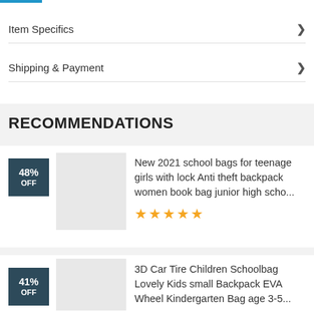Item Specifics
Shipping & Payment
RECOMMENDATIONS
New 2021 school bags for teenage girls with lock Anti theft backpack women book bag junior high scho...
3D Car Tire Children Schoolbag Lovely Kids small Backpack EVA Wheel Kindergarten Bag age 3-5